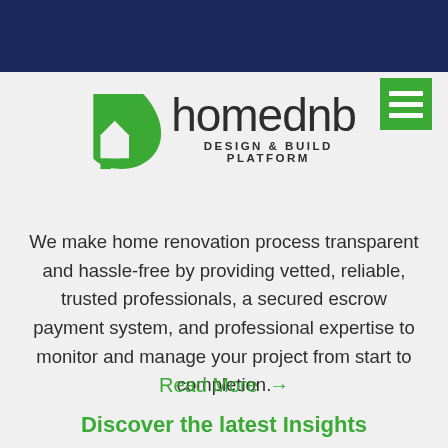[Figure (logo): homednb Design & Build Platform logo — green leaf/house icon on the left, text 'homednb' large with 'DESIGN & BUILD PLATFORM' subtitle]
[Figure (other): Green hamburger menu button (three horizontal white lines on green square background) in top-right area]
We make home renovation process transparent and hassle-free by providing vetted, reliable, trusted professionals, a secured escrow payment system, and professional expertise to monitor and manage your project from start to completion.
Read More →
Discover the latest Insights